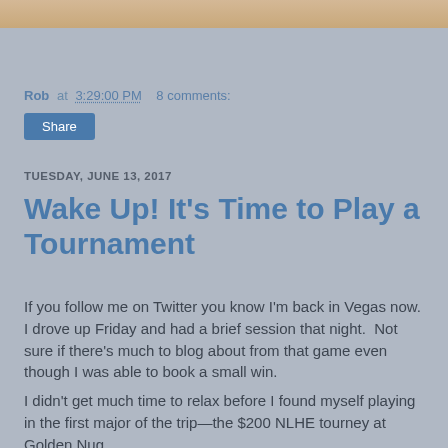[Figure (photo): Partial photo strip visible at top of page]
Rob at 3:29:00 PM   8 comments:
Share
TUESDAY, JUNE 13, 2017
Wake Up! It's Time to Play a Tournament
If you follow me on Twitter you know I'm back in Vegas now. I drove up Friday and had a brief session that night.  Not sure if there's much to blog about from that game even though I was able to book a small win.
I didn't get much time to relax before I found myself playing in the first major of the trip—the $200 NLHE tourney at Golden Nugget the same weekend, but it turns out it had...